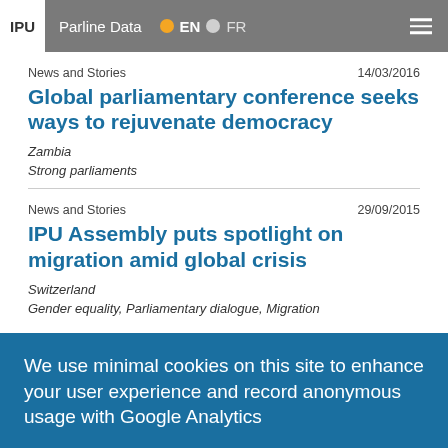IPU | Parline Data | EN | FR
News and Stories    14/03/2016
Global parliamentary conference seeks ways to rejuvenate democracy
Zambia
Strong parliaments
News and Stories    29/09/2015
IPU Assembly puts spotlight on migration amid global crisis
Switzerland
Gender equality, Parliamentary dialogue, Migration
We use minimal cookies on this site to enhance your user experience and record anonymous usage with Google Analytics